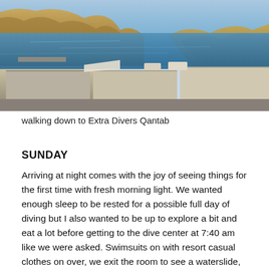[Figure (photo): Aerial/elevated view of a coastal bay with rocky/sandy mountains on the left, calm blue water in the center, and warehouse-style buildings and structures at the bottom foreground. Cars are visible near the buildings. This is Extra Divers Qantab.]
walking down to Extra Divers Qantab
SUNDAY
Arriving at night comes with the joy of seeing things for the first time with fresh morning light. We wanted enough sleep to be rested for a possible full day of diving but I also wanted to be up to explore a bit and eat a lot before getting to the dive center at 7:40 am like we were asked. Swimsuits on with resort casual clothes on over, we exit the room to see a waterslide, palm trees, and mountains with plenty of lounge chairs and canopies in-between.